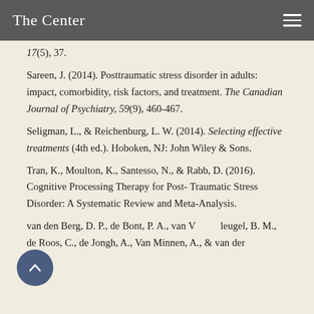The Center
17(5), 37.
Sareen, J. (2014). Posttraumatic stress disorder in adults: impact, comorbidity, risk factors, and treatment. The Canadian Journal of Psychiatry, 59(9), 460-467.
Seligman, L., & Reichenburg, L. W. (2014). Selecting effective treatments (4th ed.). Hoboken, NJ: John Wiley & Sons.
Tran, K., Moulton, K., Santesso, N., & Rabb, D. (2016). Cognitive Processing Therapy for Post- Traumatic Stress Disorder: A Systematic Review and Meta-Analysis.
van den Berg, D. P., de Bont, P. A., van Vleugel, B. M., de Roos, C., de Jongh, A., Van Minnen, A., & van der Gaag, M. (2015). Prolonged...